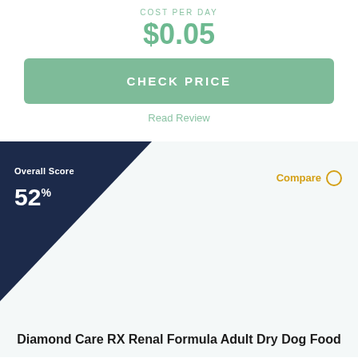COST PER DAY
$0.05
CHECK PRICE
Read Review
Overall Score
52%
Compare
Diamond Care RX Renal Formula Adult Dry Dog Food